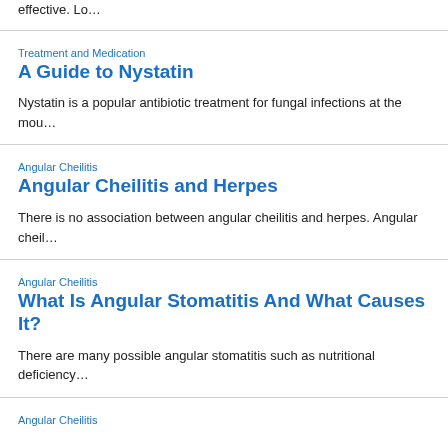effective. Lo…
Treatment and Medication
A Guide to Nystatin
Nystatin is a popular antibiotic treatment for fungal infections at the mou…
Angular Cheilitis
Angular Cheilitis and Herpes
There is no association between angular cheilitis and herpes. Angular cheil…
Angular Cheilitis
What Is Angular Stomatitis And What Causes It?
There are many possible angular stomatitis such as nutritional deficiency…
Angular Cheilitis